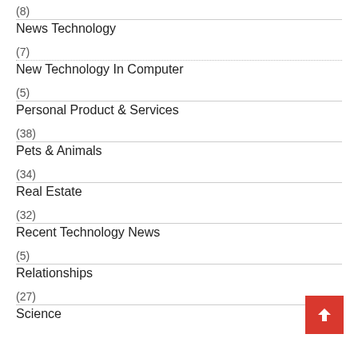(8)
News Technology
(7)
New Technology In Computer
(5)
Personal Product & Services
(38)
Pets & Animals
(34)
Real Estate
(32)
Recent Technology News
(5)
Relationships
(27)
Science